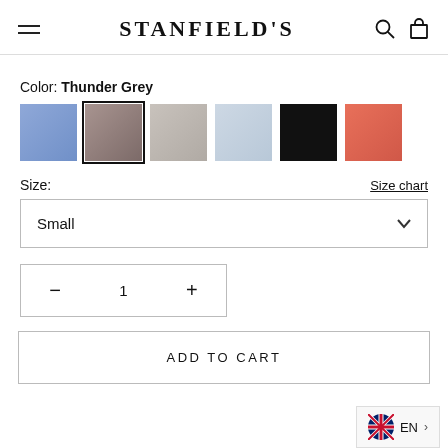STANFIELD'S
Color: Thunder Grey
[Figure (illustration): Six color swatches: periwinkle blue, thunder grey (selected), light grey, light blue, black, coral red]
Size:
Size chart
Small
1
ADD TO CART
EN